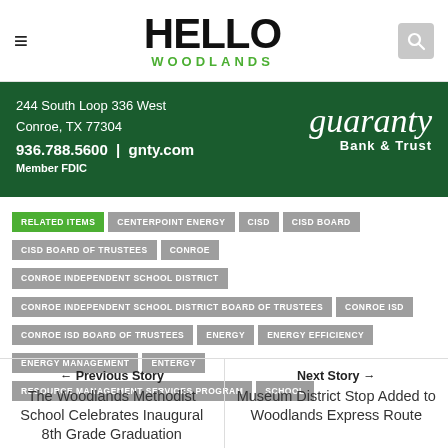Hello Woodlands
[Figure (photo): Guaranty Bank & Trust advertisement banner with dark green background showing address 244 South Loop 336 West, Conroe, TX 77304, phone 936.788.5600, gnty.com, Member FDIC, and Guaranty Bank & Trust logo]
RELATED ITEMS
CENTERPOINT ENERGY
CISD
CISD BOARD
CISD BOARD OF TRUSTEES
CONROE
CONROE INDEPENDENT SCHOOL DISTRICT
CONROE INDEPENDENT SCHOOL DISTRICT BOARD OF TRUSTEES
CONROE ISD
CONROE ISD BOARD OF TRUSTEES
ENERGY
ENERGY EFFICIENCY
ENERGY MANAGEMENT
ENTERGY
RESOURCE MANAGEMENT SERVICES PROGRAM
SCHOOL
← Previous Story
The Woodlands Methodist School Celebrates Inaugural 8th Grade Graduation
Next Story →
Museum District Stop Added to Woodlands Express Route